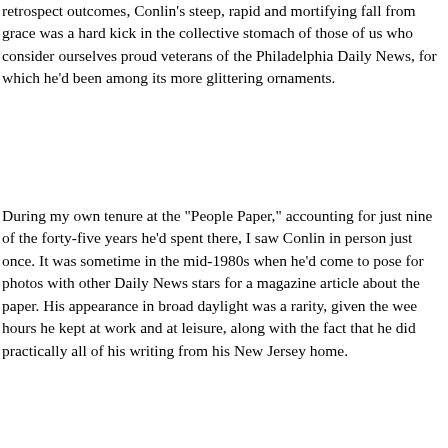retrospect outcomes, Conlin's steep, rapid and mortifying fall from grace was a hard kick in the collective stomach of those of us who consider ourselves proud veterans of the Philadelphia Daily News, for which he'd been among its more glittering ornaments.
During my own tenure at the "People Paper," accounting for just nine of the forty-five years he'd spent there, I saw Conlin in person just once. It was sometime in the mid-1980s when he'd come to pose for photos with other Daily News stars for a magazine article about the paper. His appearance in broad daylight was a rarity, given the wee hours he kept at work and at leisure, along with the fact that he did practically all of his writing from his New Jersey home.
Those of us on the clock that afternoon peppered his Brobidngnagian aura with smart-to-semi-stupid questions about baseball, its content and discontents. He didn't mind answering any of them. In fact, one had the feeling that the only thing he loved more than baseball was talking at length about baseball, sharing clubhouse gossip about the Phillies and their National League antagonists, dropping the occasional dime on a general manager or player for this or that off-the-books peccadillo and theorizing with abandon on any number of topics whether it was the Battle of Balaclava or Larry Bowa's endless war on third-base umpires.
Yet for all his rangy intelligence, and lordly indulgence, Conlin also gave off the